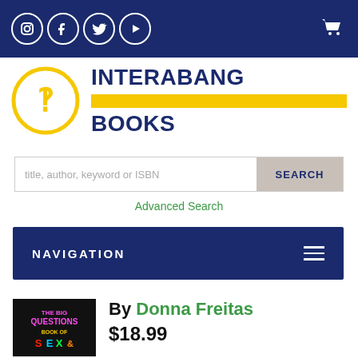Social media icons (Instagram, Facebook, Twitter, YouTube) and cart icon on dark navy background
[Figure (logo): Interabang Books logo: yellow circle with interrobang symbol, text INTERABANG BOOKS in navy with yellow bar]
title, author, keyword or ISBN
SEARCH
Advanced Search
NAVIGATION
[Figure (photo): Book cover: The Big Questions Book of Sex & Consent, colorful neon text on dark background]
By Donna Freitas
$18.99